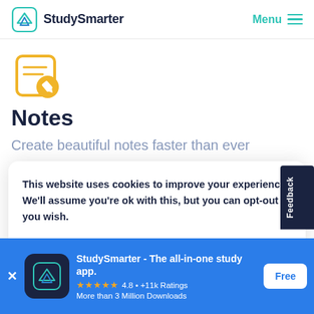StudySmarter  Menu
[Figure (illustration): Yellow notepad with pencil icon representing Notes feature]
Notes
Create beautiful notes faster than ever
This website uses cookies to improve your experience. We'll assume you're ok with this, but you can opt-out if you wish.
Accept
StudySmarter - The all-in-one study app.
4.8 • +11k Ratings
More than 3 Million Downloads
Free